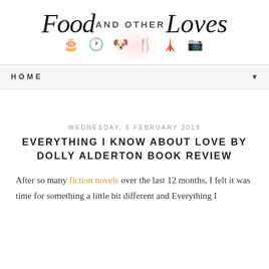Food AND OTHER Loves — blog logo with icons (cake, clock, dog, mixer, tower, camera)
HOME ▼
WEDNESDAY, 6 FEBRUARY 2019
EVERYTHING I KNOW ABOUT LOVE BY DOLLY ALDERTON BOOK REVIEW
After so many fiction novels over the last 12 months, I felt it was time for something a little bit different and Everything I